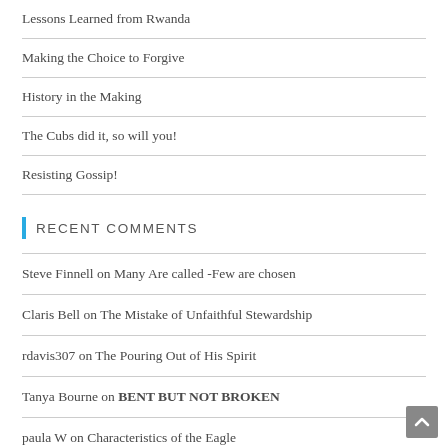Lessons Learned from Rwanda
Making the Choice to Forgive
History in the Making
The Cubs did it, so will you!
Resisting Gossip!
Recent Comments
Steve Finnell on Many Are called -Few are chosen
Claris Bell on The Mistake of Unfaithful Stewardship
rdavis307 on The Pouring Out of His Spirit
Tanya Bourne on BENT BUT NOT BROKEN
paula W on Characteristics of the Eagle